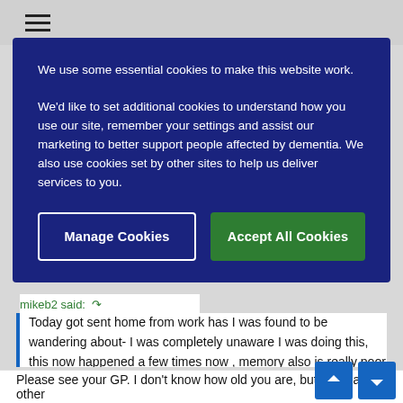≡
We use some essential cookies to make this website work.

We'd like to set additional cookies to understand how you use our site, remember your settings and assist our marketing to better support people affected by dementia. We also use cookies set by other sites to help us deliver services to you.
Manage Cookies
Accept All Cookies
mikeb2 said: ↩
Today got sent home from work has I was found to be wandering about- I was completely unaware I was doing this, this now happened a few times now , memory also is really poor and confusion of what i should be doing is another trouble , and also i found today I could not use a pen to write a report my hand did not want to responed , Worry this could be a sign of early dem...
Please see your GP. I don't know how old you are, but there are other